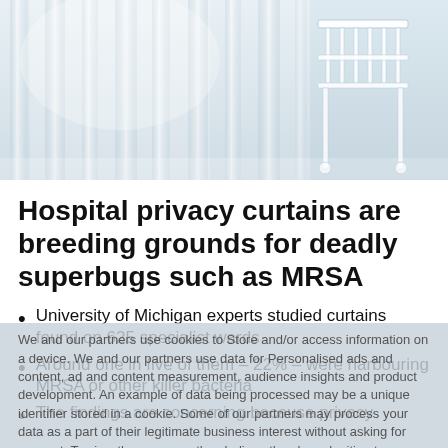[Figure (photo): Hospital room with white privacy curtains hanging and a metal bed frame visible in the background to the right. Light, airy, clinical setting.]
Hospital privacy curtains are breeding grounds for deadly superbugs such as MRSA
University of Michigan experts studied curtains found on 625 specialist wards
Around one in five of them – 22% – were harbouring MRSA or other killer bacteria
The findings are concerning because privacy